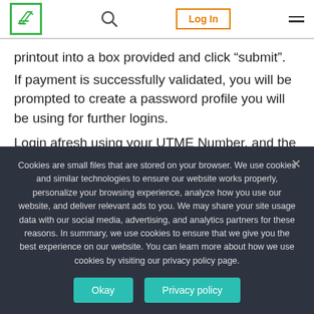Navigation bar with logo, search icon, Log In button, and menu icon
printout into a box provided and click “submit”. If payment is successfully validated, you will be prompted to create a password profile you will be using for further logins.
Login afresh using your UTME Number, and the password you created and the Full Application Form will
Cookies are small files that are stored on your browser. We use cookies and similar technologies to ensure our website works properly, personalize your browsing experience, analyze how you use our website, and deliver relevant ads to you. We may share your site usage data with our social media, advertising, and analytics partners for these reasons. In summary, we use cookies to ensure that we give you the best experience on our website. You can learn more about how we use cookies by visiting our privacy policy page.